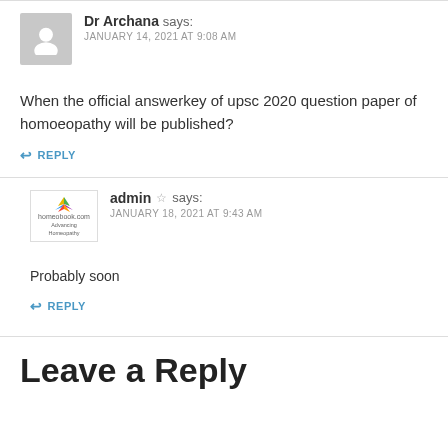Dr Archana says: JANUARY 14, 2021 AT 9:08 AM
When the official answerkey of upsc 2020 question paper of homoeopathy will be published?
REPLY
admin says: JANUARY 18, 2021 AT 9:43 AM
Probably soon
REPLY
Leave a Reply